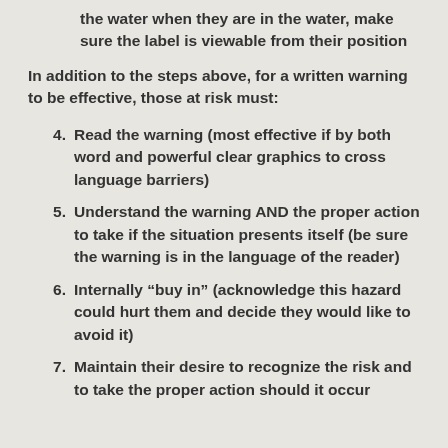the water when they are in the water, make sure the label is viewable from their position
In addition to the steps above, for a written warning to be effective, those at risk must:
Read the warning (most effective if by both word and powerful clear graphics to cross language barriers)
Understand the warning AND the proper action to take if the situation presents itself (be sure the warning is in the language of the reader)
Internally “buy in” (acknowledge this hazard could hurt them and decide they would like to avoid it)
Maintain their desire to recognize the risk and to take the proper action should it occur